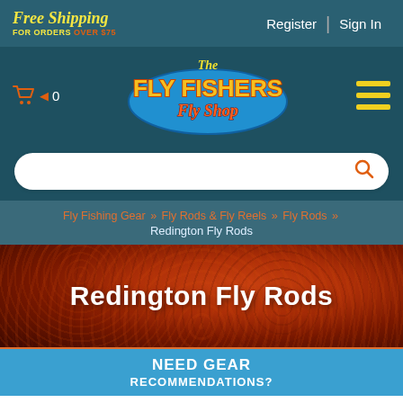Free Shipping FOR ORDERS OVER $75 | Register | Sign In
[Figure (logo): The Fly Fishers Fly Shop logo with cart icon and hamburger menu]
Search bar
Fly Fishing Gear » Fly Rods & Fly Reels » Fly Rods » Redington Fly Rods
Redington Fly Rods
NEED GEAR RECOMMENDATIONS?